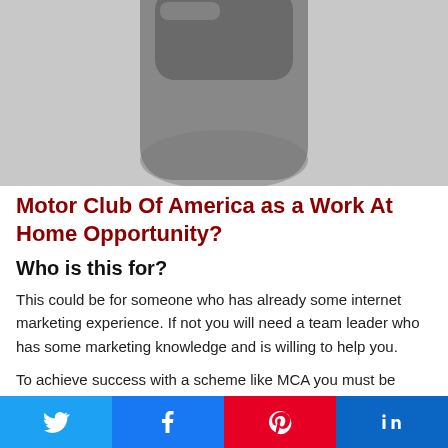[Figure (photo): Partially visible grayscale image of a device (appears to be a smart home speaker or similar rounded rectangular electronic device) on a light gray background.]
Motor Club Of America as a Work At Home Opportunity?
Who is this for?
This could be for someone who has already some internet marketing experience. If not you will need a team leader who has some marketing knowledge and is willing to help you.
To achieve success with a scheme like MCA you must be willing to work long hours. Persuading others to buy something is really difficult. Remember the vast majority